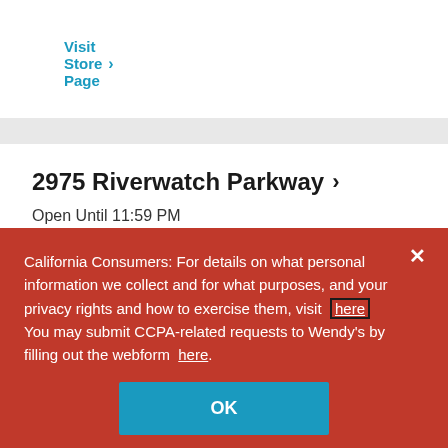Visit Store Page >
2975 Riverwatch Parkway >
Open Until 11:59 PM
2975 Riverwatch Parkway
Augusta, GA 30907
(706) 481-9939 >
California Consumers: For details on what personal information we collect and for what purposes, and your privacy rights and how to exercise them, visit here You may submit CCPA-related requests to Wendy's by filling out the webform here.
OK